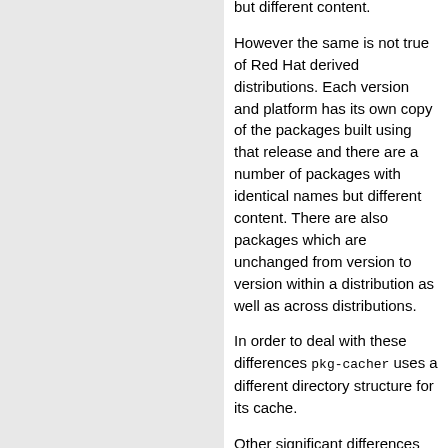but different content.
However the same is not true of Red Hat derived distributions. Each version and platform has its own copy of the packages built using that release and there are a number of packages with identical names but different content. There are also packages which are unchanged from version to version within a distribution as well as across distributions.
In order to deal with these differences pkg-cacher uses a different directory structure for its cache.
Other significant differences from Debian are the Red Hat packager uses the Range HTTP header to retrieve partial